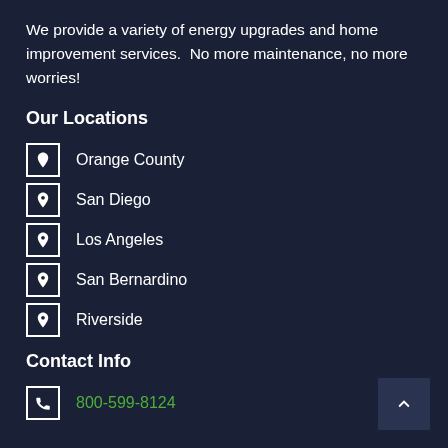We provide a variety of energy upgrades and home improvement services.  No more maintenance, no more worries!
Our Locations
Orange County
San Diego
Los Angeles
San Bernardino
Riverside
Contact Info
800-599-8124